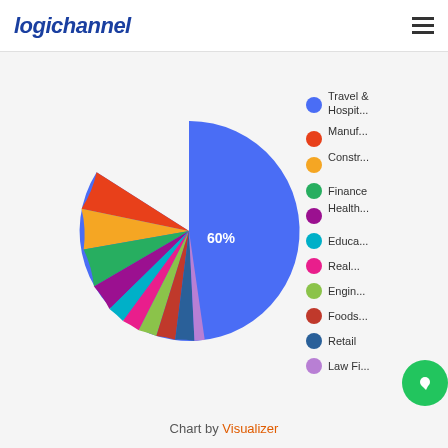logichannel
[Figure (pie-chart): ]
Chart by Visualizer